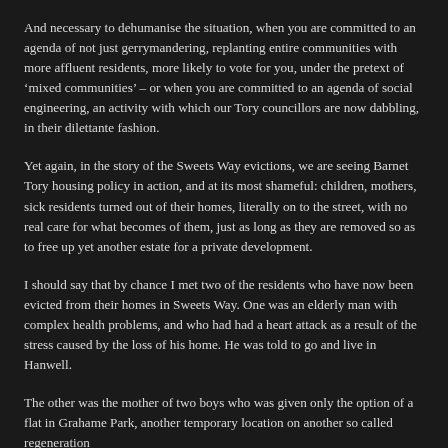And necessary to dehumanise the situation, when you are committed to an agenda of not just gerrymandering, replanting entire communities with more affluent residents, more likely to vote for you, under the pretext of ‘mixed communities’ – or when you are committed to an agenda of social engineering, an activity with which our Tory councillors are now dabbling, in their dilettante fashion.
Yet again, in the story of the Sweets Way evictions, we are seeing Barnet Tory housing policy in action, and at its most shameful: children, mothers, sick residents turned out of their homes, literally on to the street, with no real care for what becomes of them, just as long as they are removed so as to free up yet another estate for a private development.
I should say that by chance I met two of the residents who have now been evicted from their homes in Sweets Way. One was an elderly man with complex health problems, and who had had a heart attack as a result of the stress caused by the loss of his home. He was told to go and live in Hanwell.
The other was the mother of two boys who was given only the option of a flat in Grahame Park, another temporary location on another so called regeneration